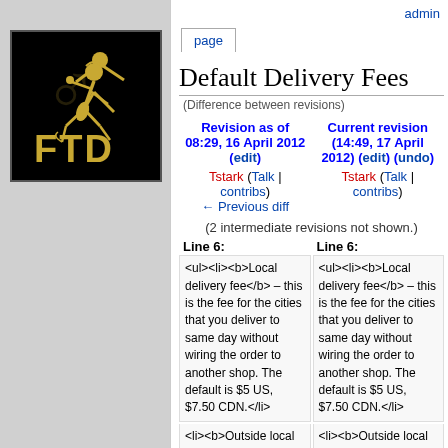[Figure (logo): FTD logo: black square background with golden Mercury/Hermes running figure holding flowers, text FTD in gold letters]
admin
page
Default Delivery Fees
(Difference between revisions)
| Revision as of 08:29, 16 April 2012 (edit) | Current revision (14:49, 17 April 2012) (edit) (undo) |
| --- | --- |
| Tstark (Talk | contribs)
← Previous diff | Tstark (Talk | contribs) |
(2 intermediate revisions not shown.)
Line 6:
Line 6:
<ul><li><b>Local delivery fee</b> – this is the fee for the cities that you deliver to same day without wiring the order to another shop. The default is $5 US, $7.50 CDN.</li>
<ul><li><b>Local delivery fee</b> – this is the fee for the cities that you deliver to same day without wiring the order to another shop. The default is $5 US, $7.50 CDN.</li>
<li><b>Outside local delivery fee</b> – this is
<li><b>Outside local delivery fee</b> – this is